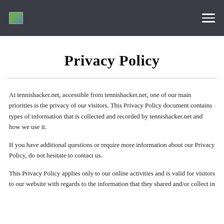[Logo] [Menu]
Privacy Policy
At tennishacker.net, accessible from tennishacker.net, one of our main priorities is the privacy of our visitors. This Privacy Policy document contains types of information that is collected and recorded by tennishacker.net and how we use it.
If you have additional questions or require more information about our Privacy Policy, do not hesitate to contact us.
This Privacy Policy applies only to our online activities and is valid for visitors to our website with regards to the information that they shared and/or collect in